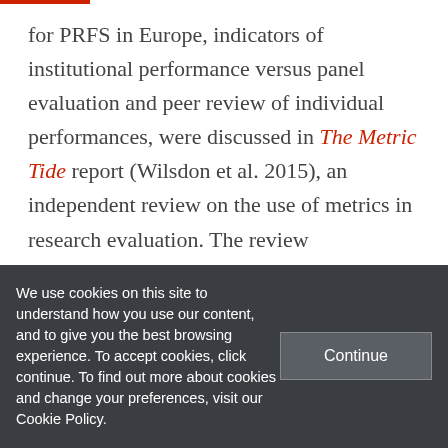for PRFS in Europe, indicators of institutional performance versus panel evaluation and peer review of individual performances, were discussed in The Metric Tide report (Wilsdon et al. 2015), an independent review on the use of metrics in research evaluation. The review convincingly concludes that within the REF, it is currently not feasible to assess research quality using quantitative indicators alone. Peer review is needed. The review
We use cookies on this site to understand how you use our content, and to give you the best browsing experience. To accept cookies, click continue. To find out more about cookies and change your preferences, visit our Cookie Policy.